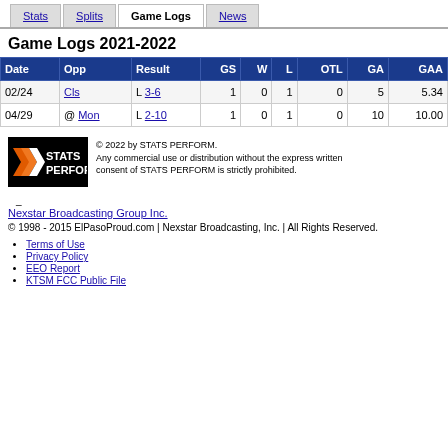Stats | Splits | Game Logs | News
Game Logs 2021-2022
| Date | Opp | Result | GS | W | L | OTL | GA | GAA |
| --- | --- | --- | --- | --- | --- | --- | --- | --- |
| 02/24 | Cls | L 3-6 | 1 | 0 | 1 | 0 | 5 | 5.34 |
| 04/29 | @ Mon | L 2-10 | 1 | 0 | 1 | 0 | 10 | 10.00 |
[Figure (logo): STATS PERFORM logo — black background with orange/white chevron stripes and white bold text reading STATS PERFORM]
© 2022 by STATS PERFORM. Any commercial use or distribution without the express written consent of STATS PERFORM is strictly prohibited.
–
Nexstar Broadcasting Group Inc.
© 1998 - 2015 ElPasoProud.com | Nexstar Broadcasting, Inc. | All Rights Reserved.
Terms of Use
Privacy Policy
EEO Report
KTSM FCC Public File